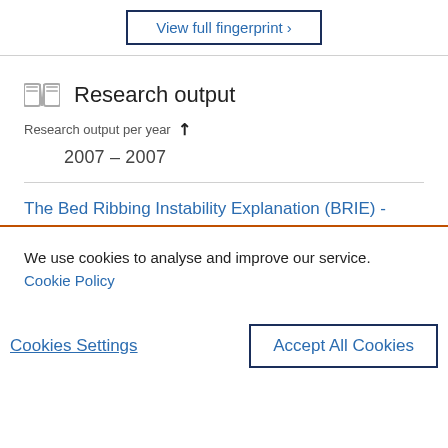View full fingerprint ›
Research output
Research output per year ↗
2007 – 2007
The Bed Ribbing Instability Explanation (BRIE) -
We use cookies to analyse and improve our service. Cookie Policy
Cookies Settings
Accept All Cookies